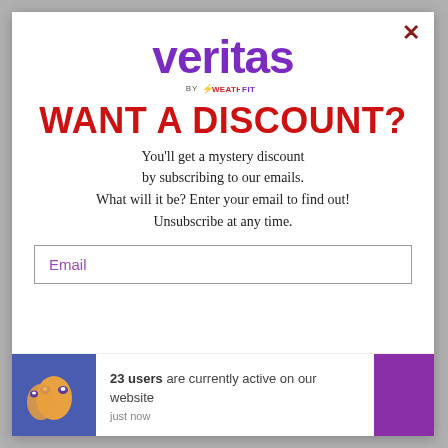[Figure (logo): Veritas by WeatherfordFit logo — 'veritas' in large purple bold text, 'BY W WEATHERFORDFIT' in small text below]
WANT A DISCOUNT?
You'll get a mystery discount by subscribing to our emails. What will it be? Enter your email to find out! Unsubscribe at any time.
Email
[Figure (infographic): Notification bar showing a blue background icon with a cartoon face, text '23 users are currently active on our website', timestamp 'just now', and a purple square on the right]